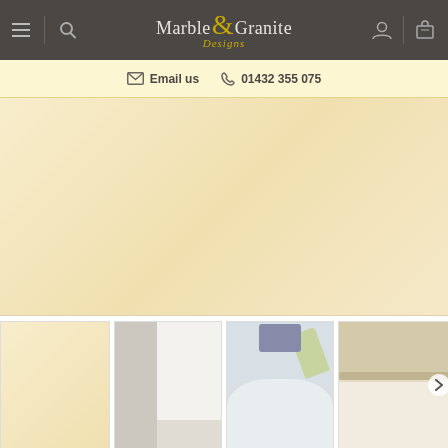Marble & Granite Designs — navigation bar with logo, hamburger menu, search, user and basket icons
Email us  01432 355 075
[Figure (photo): Main product image showing a cream/ivory coloured marble or stone surface swatch — large pale beige rectangle]
[Figure (photo): Thumbnail 1: cream/ivory stone colour swatch]
[Figure (photo): Thumbnail 2: white bathroom or kitchen room scene with white panels]
[Figure (photo): Thumbnail 3: person cleaning a white sink or basin with a yellow gloved hand and cloth]
[Figure (photo): Thumbnail 4: close-up edge of a cream stone worktop or surface]